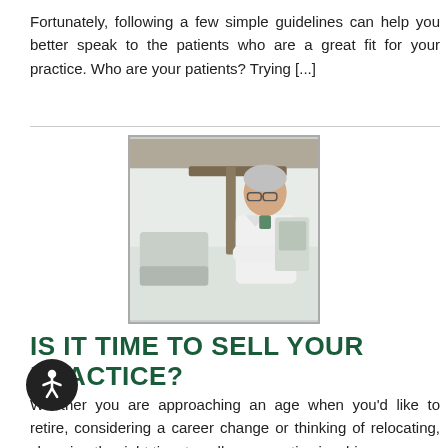Fortunately, following a few simple guidelines can help you better speak to the patients who are a great fit for your practice. Who are your patients? Trying [...]
[Figure (photo): An older dentist in a white lab coat standing confidently with arms crossed in a dental office, with dental equipment visible in the background.]
IS IT TIME TO SELL YOUR PRACTICE?
Whether you are approaching an age when you'd like to retire, considering a career change or thinking of relocating, choosing the right time to sell your practice is a big